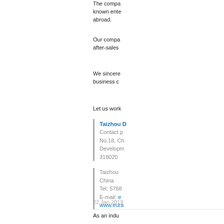The company is known enterprise abroad.
Our company after-sales
We sincerely business c
Let us work
Taizhou
Contact p
No.18, Ch
Developm
318020
Taizhou
China
Tel: 5768
E-mail: e
www.eura
22 Jan 2019
As an indu